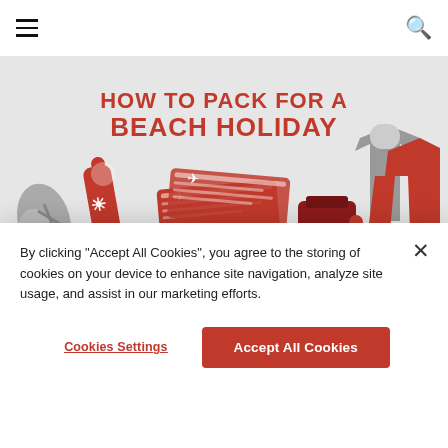≡  [search icon]
[Figure (illustration): Hero banner showing beach holiday packing illustration with text 'HOW TO PACK FOR A BEACH HOLIDAY' in red on light grey background, with illustrated items: flip-flops, sunscreen tube, airplane tickets, wallet, shirt and red vest]
Beach ◇ Interests ◇ Travel Tips
THE ULTIMATE BEACH VACATION PACKING CHECKLIST
By clicking "Accept All Cookies", you agree to the storing of cookies on your device to enhance site navigation, analyze site usage, and assist in our marketing efforts.
Cookies Settings  |  Accept All Cookies